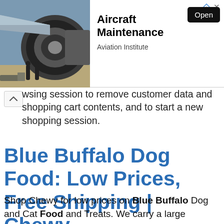[Figure (screenshot): Advertisement banner showing an aircraft engine maintenance photo on the left, with text 'Aircraft Maintenance', 'Aviation Institute', and an 'Open' button on the right. There are ad icon and close (x) symbols in the top right.]
wsing session to remove customer data and shopping cart contents, and to start a new shopping session.
Blue Buffalo Dog Food: Low Prices, Free Shipping | Chewy
Shop Chewy for low prices on Blue Buffalo Dog and Cat Food and Treats. We carry a large selection of Blue Buffalo Pet Food and Treats including wet and dry food, grain-free, limited ingredient, prescription food